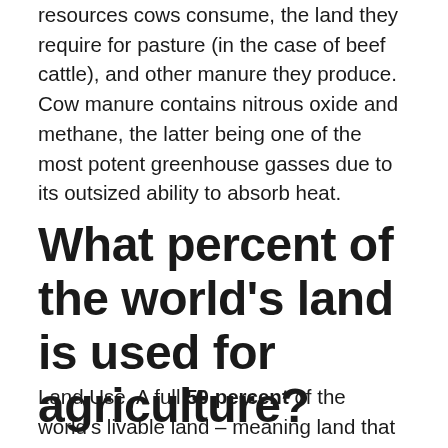resources cows consume, the land they require for pasture (in the case of beef cattle), and other manure they produce. Cow manure contains nitrous oxide and methane, the latter being one of the most potent greenhouse gasses due to its outsized ability to absorb heat.
What percent of the world's land is used for agriculture?
Land Use. A full 50 percent of the world's livable land – meaning land that is ice-free and fertile – is being used for agriculture. No